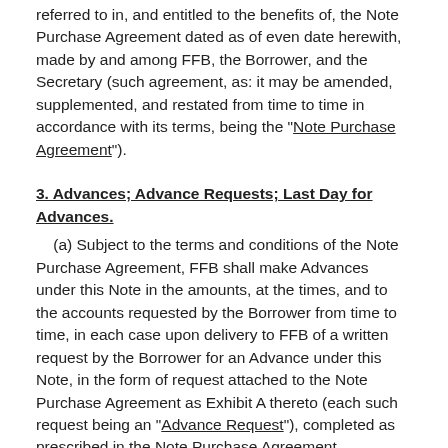referred to in, and entitled to the benefits of, the Note Purchase Agreement dated as of even date herewith, made by and among FFB, the Borrower, and the Secretary (such agreement, as: it may be amended, supplemented, and restated from time to time in accordance with its terms, being the "Note Purchase Agreement").
3. Advances; Advance Requests; Last Day for Advances.
(a) Subject to the terms and conditions of the Note Purchase Agreement, FFB shall make Advances under this Note in the amounts, at the times, and to the accounts requested by the Borrower from time to time, in each case upon delivery to FFB of a written request by the Borrower for an Advance under this Note, in the form of request attached to the Note Purchase Agreement as Exhibit A thereto (each such request being an "Advance Request"), completed as prescribed in the Note Purchase Agreement.
(b) To be effective, an Advance Request must first be